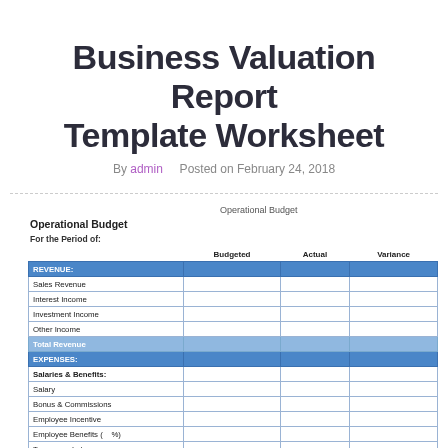Business Valuation Report Template Worksheet
By admin   Posted on February 24, 2018
Operational Budget
Operational Budget
For the Period of:
|  | Budgeted | Actual | Variance |
| --- | --- | --- | --- |
| REVENUE: |  |  |  |
| Sales Revenue |  |  |  |
| Interest Income |  |  |  |
| Investment Income |  |  |  |
| Other Income |  |  |  |
| Total Revenue |  |  |  |
| EXPENSES: |  |  |  |
| Salaries & Benefits: |  |  |  |
| Salary |  |  |  |
| Bonus & Commissions |  |  |  |
| Employee Incentive |  |  |  |
| Employee Benefits (    %) |  |  |  |
| Temporary Labor |  |  |  |
| TOTAL Salary & Benefits |  |  |  |
| Other Expenses: |  |  |  |
| Advertising |  |  |  |
| Bank Service Charges |  |  |  |
| Computer Lease |  |  |  |
| Consulting Fees |  |  |  |